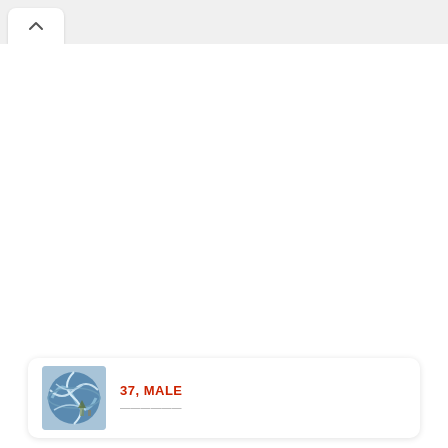[Figure (screenshot): Collapse/up-arrow button at top left of a mobile UI panel]
37, MALE